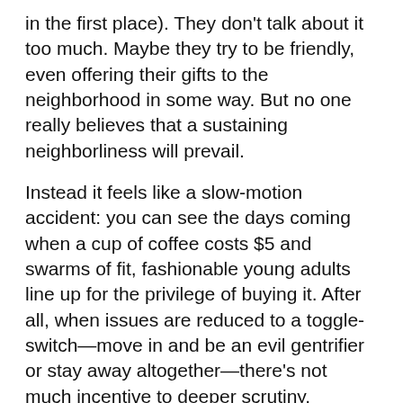in the first place). They don't talk about it too much. Maybe they try to be friendly, even offering their gifts to the neighborhood in some way. But no one really believes that a sustaining neighborliness will prevail.
Instead it feels like a slow-motion accident: you can see the days coming when a cup of coffee costs $5 and swarms of fit, fashionable young adults line up for the privilege of buying it. After all, when issues are reduced to a toggle-switch—move in and be an evil gentrifier or stay away altogether—there's not much incentive to deeper scrutiny.
The antidote? Unpack the concept of gentrification, converting a blunt instrument to a sharp tool for understanding. Ask harder questions: what can artists and arts organizations do to resist being used by speculators whose aim is to profit from displacement? How can they engage with their neighbors in